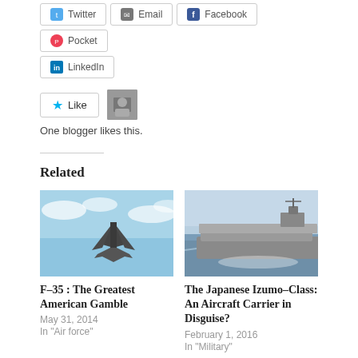[Figure (screenshot): Social share buttons: Twitter, Email, Facebook, Pocket, LinkedIn]
[Figure (screenshot): Like button with star icon and blogger avatar thumbnail]
One blogger likes this.
Related
[Figure (photo): F-35 stealth fighter jet flying above clouds]
F–35 : The Greatest American Gamble
May 31, 2014
In "Air force"
[Figure (photo): Japanese Izumo-class helicopter destroyer at sea]
The Japanese Izumo–Class: An Aircraft Carrier in Disguise?
February 1, 2016
In "Military"
[Figure (photo): Partial image of another military aircraft at bottom of page]